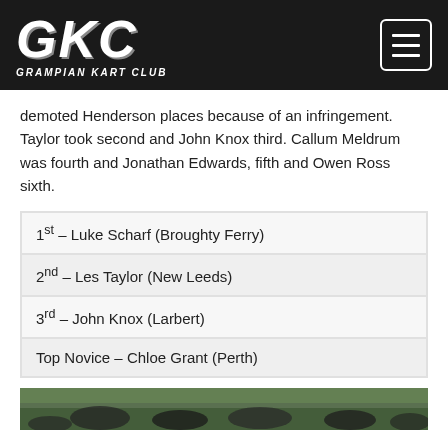GKC GRAMPIAN KART CLUB
demoted Henderson places because of an infringement. Taylor took second and John Knox third. Callum Meldrum was fourth and Jonathan Edwards, fifth and Owen Ross sixth.
1st – Luke Scharf (Broughty Ferry)
2nd – Les Taylor (New Leeds)
3rd – John Knox (Larbert)
Top Novice – Chloe Grant (Perth)
[Figure (photo): Bottom strip showing a photo of tires/track environment with green grass background]